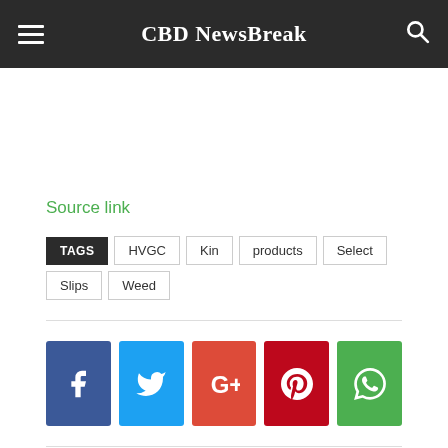CBD NewsBreak
Source link
TAGS  HVGC  Kin  products  Select  Slips  Weed
[Figure (other): Social share buttons: Facebook, Twitter, Google+, Pinterest, WhatsApp]
Previous article   Next article